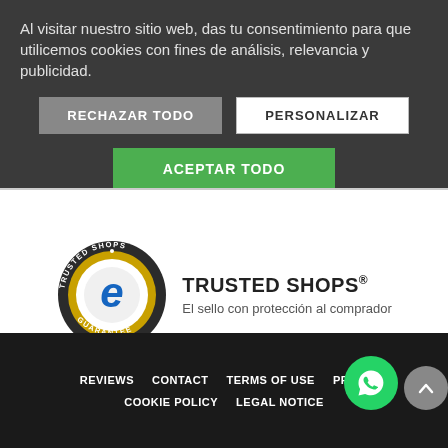Al visitar nuestro sitio web, das tu consentimiento para que utilicemos cookies con fines de análisis, relevancia y publicidad.
RECHAZAR TODO
PERSONALIZAR
ACEPTAR TODO
[Figure (logo): Trusted Shops badge with golden ring, dark outer ring with text 'TRUSTED SHOPS GUARANTEE', blue stylized 'e' in center, alongside text 'TRUSTED SHOPS®' and 'El sello con protección al comprador']
REVIEWS  CONTACT  TERMS OF USE  PRIVACY  COOKIE POLICY  LEGAL NOTICE